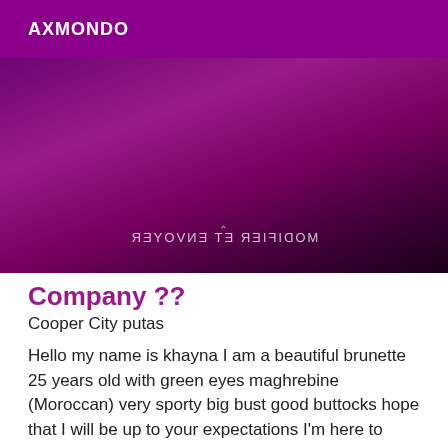AXMONDO
[Figure (photo): Dark purple/magenta toned photo with mirrored text overlay reading 'MODIFIER ET ENVOYER' with a caret/chevron icon above it]
Company ??
Cooper City putas
Hello my name is khayna I am a beautiful brunette 25 years old with green eyes maghrebine (Moroccan) very sporty big bust good buttocks hope that I will be up to your expectations I'm here to realize your fantasies is to make you spend a very pleasant time my meetings is realized in hotel big kiss to soon